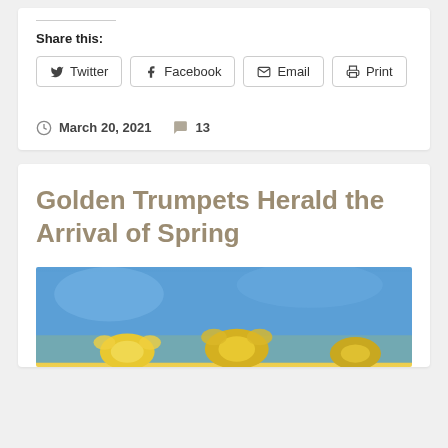Share this:
Twitter
Facebook
Email
Print
March 20, 2021  13
Golden Trumpets Herald the Arrival of Spring
[Figure (photo): Close-up photo of yellow daffodil flowers against a blue background]